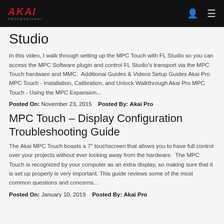AKAI PROFESSIONAL
Studio
In this video, I walk through setting up the MPC Touch with FL Studio so you can access the MPC Software plugin and control FL Studio's transport via the MPC Touch hardware and MMC.  Additional Guides & Videos Setup Guides Akai Pro MPC Touch - Installation, Calibration, and Unlock Walkthrough Akai Pro MPC Touch - Using the MPC Expansion...
Posted On: November 23, 2015   Posted By: Akai Pro
MPC Touch – Display Configuration Troubleshooting Guide
The Akai MPC Touch boasts a 7" touchscreen that allows you to have full control over your projects without ever looking away from the hardware.  The MPC Touch is recognized by your computer as an extra display, so making sure that it is set up properly is very important. This guide reviews some of the most common questions and concerns...
Posted On: January 10, 2019   Posted By: Akai Pro